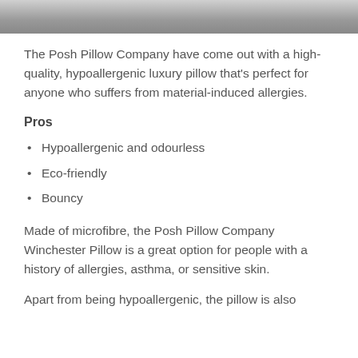[Figure (photo): Partial photo strip at top of page showing a white pillow on a grey surface]
The Posh Pillow Company have come out with a high-quality, hypoallergenic luxury pillow that's perfect for anyone who suffers from material-induced allergies.
Pros
Hypoallergenic and odourless
Eco-friendly
Bouncy
Made of microfibre, the Posh Pillow Company Winchester Pillow is a great option for people with a history of allergies, asthma, or sensitive skin.
Apart from being hypoallergenic, the pillow is also